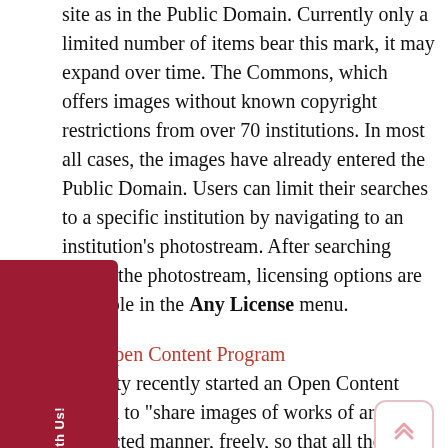site as in the Public Domain. Currently only a limited number of items bear this mark, it may expand over time. The Commons, which offers images without known copyright restrictions from over 70 institutions. In most all cases, the images have already entered the Public Domain. Users can limit their searches to a specific institution by navigating to an institution's photostream. After searching within the photostream, licensing options are available in the Any License menu.
[Figure (other): Red 'Chat With Us!' widget tab on the left side of the page with a chat bubble icon]
[Figure (other): Scroll-to-top button with upward chevron arrows, light pink border, rounded rectangle]
Getty Open Content Program
The Getty recently started an Open Content Program to "share images of works of art in an unrestricted manner, freely, so that all those...